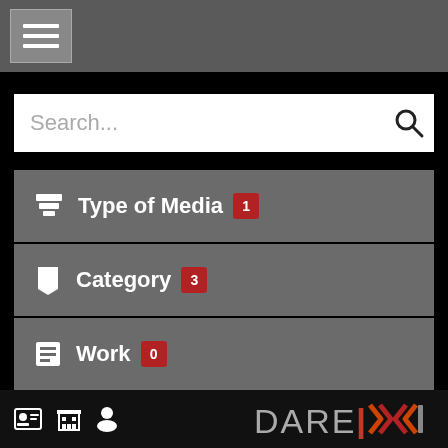[Figure (screenshot): Top navigation bar with hamburger menu button (three horizontal lines) on grey background]
[Figure (screenshot): Search bar with placeholder text 'Search...' and magnifying glass icon]
Type of Media 1
Category 3
Work 0
Author 1
Date 7
[Figure (logo): DARE logo with stylized Hebrew/Arabic letters in orange and red on black bottom bar, with three footer icons on left]